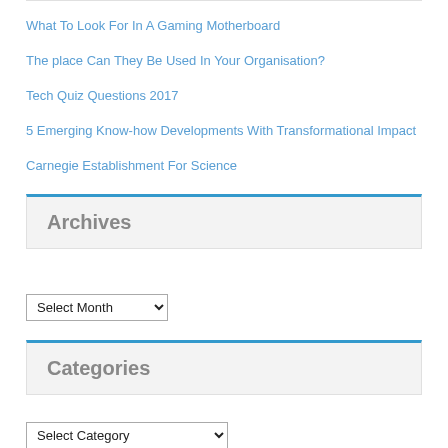What To Look For In A Gaming Motherboard
The place Can They Be Used In Your Organisation?
Tech Quiz Questions 2017
5 Emerging Know-how Developments With Transformational Impact
Carnegie Establishment For Science
Archives
Select Month
Categories
Select Category